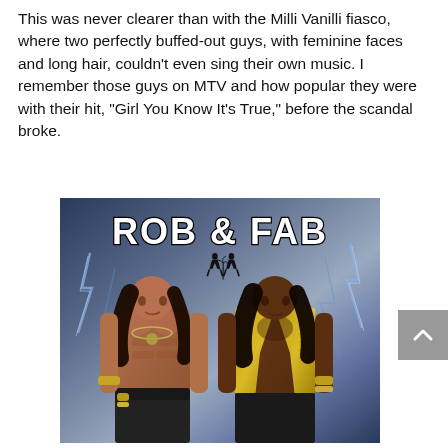This was never clearer than with the Milli Vanilli fiasco, where two perfectly buffed-out guys, with feminine faces and long hair, couldn't even sing their own music. I remember those guys on MTV and how popular they were with their hit, "Girl You Know It's True," before the scandal broke.
[Figure (photo): Rob & Fab album cover showing two muscular men with long hair standing in front of a blue lightning-effect background. The text 'ROB & FAB' appears at the top in bold stylized lettering with a small logo between them.]